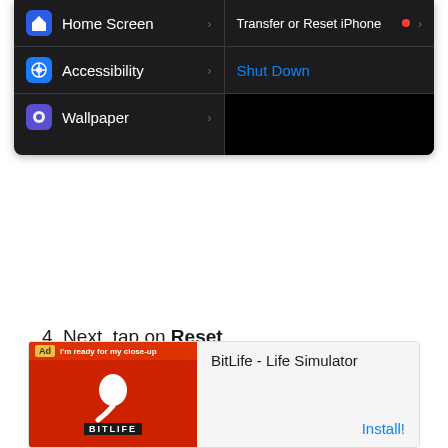[Figure (screenshot): iPhone Settings screen showing left panel with Home Screen, Accessibility, Wallpaper rows and right panel with Transfer or Reset iPhone and Shut Down options on dark background]
4. Next, tap on Reset.
5. From the settings.
[Figure (screenshot): Advertisement banner for BitLife - Life Simulator app with Install button]